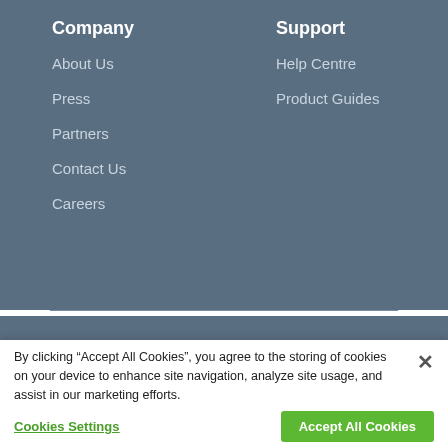Company
About Us
Press
Partners
Contact Us
Careers
Support
Help Centre
Product Guides
[Figure (logo): BullGuard logo with bull icon in light grey on dark blue-grey background]
By clicking “Accept All Cookies”, you agree to the storing of cookies on your device to enhance site navigation, analyze site usage, and assist in our marketing efforts.
Cookies Settings
Accept All Cookies